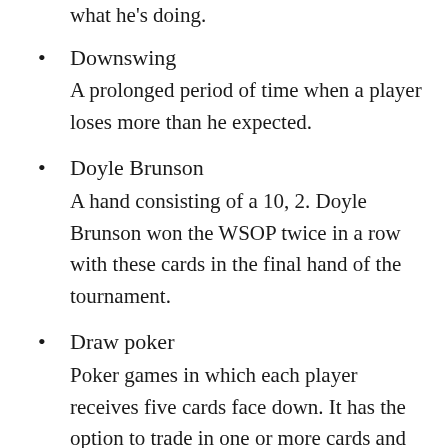what he's doing.
Downswing
A prolonged period of time when a player loses more than he expected.
Doyle Brunson
A hand consisting of a 10, 2. Doyle Brunson won the WSOP twice in a row with these cards in the final hand of the tournament.
Draw poker
Poker games in which each player receives five cards face down. It has the option to trade in one or more cards and replace them with new ones in an attempt